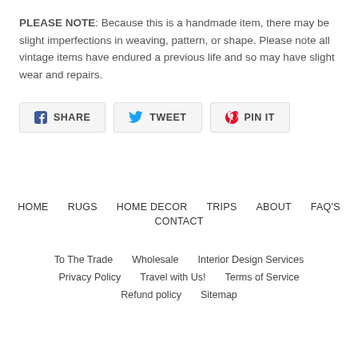PLEASE NOTE: Because this is a handmade item, there may be slight imperfections in weaving, pattern, or shape. Please note all vintage items have endured a previous life and so may have slight wear and repairs.
[Figure (other): Social sharing buttons: Facebook SHARE, Twitter TWEET, Pinterest PIN IT]
HOME   RUGS   HOME DECOR   TRIPS   ABOUT   FAQ'S   CONTACT
To The Trade   Wholesale   Interior Design Services   Privacy Policy   Travel with Us!   Terms of Service   Refund policy   Sitemap